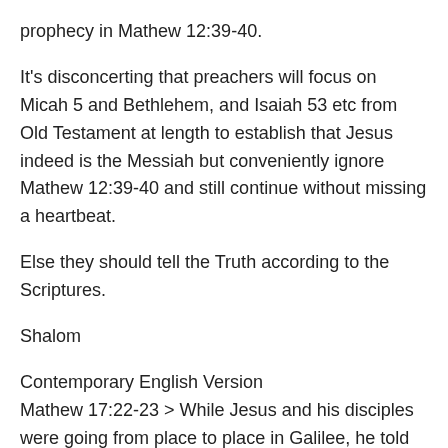prophecy in Mathew 12:39-40.
It's disconcerting that preachers will focus on Micah 5 and Bethlehem, and Isaiah 53 etc from Old Testament at length to establish that Jesus indeed is the Messiah but conveniently ignore Mathew 12:39-40 and still continue without missing a heartbeat.
Else they should tell the Truth according to the Scriptures.
Shalom
Contemporary English Version
Mathew 17:22-23 > While Jesus and his disciples were going from place to place in Galilee, he told them, “The Son of Man will be